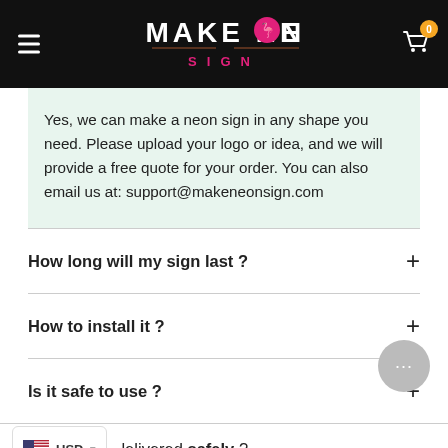[Figure (logo): Make Neon Sign logo on black header bar with hamburger menu and cart icon]
Yes, we can make a neon sign in any shape you need. Please upload your logo or idea, and we will provide a free quote for your order. You can also email us at: support@makeneonsign.com
How long will my sign last ?
How to install it ?
Is it safe to use ?
lelivered safely ?